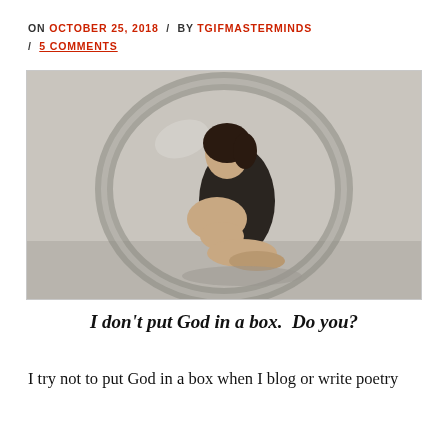ON OCTOBER 25, 2018 / BY TGIFMASTERMINDS / 5 COMMENTS
[Figure (photo): A young woman with dark hair sits curled up inside a large transparent glass bubble or sphere, photographed against a neutral grey wall background.]
I don't put God in a box.  Do you?
I try not to put God in a box when I blog or write poetry